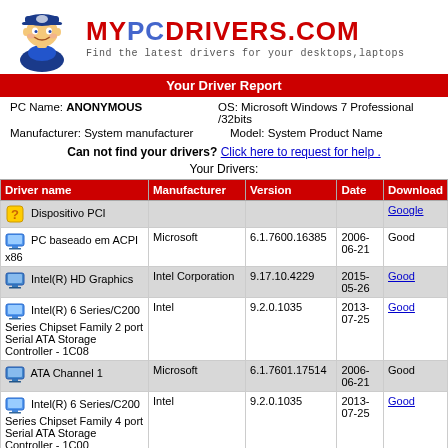[Figure (logo): MYPC DRIVERS.COM logo with cartoon technician mascot and tagline: Find the latest drivers for your desktops,laptops]
Your Driver Report
PC Name: ANONYMOUS
OS: Microsoft Windows 7 Professional /32bits
Manufacturer: System manufacturer
Model: System Product Name
Can not find your drivers? Click here to request for help .
Your Drivers:
| Driver name | Manufacturer | Version | Date | Download |
| --- | --- | --- | --- | --- |
| Dispositivo PCI |  |  |  | Google |
| PC baseado em ACPI x86 | Microsoft | 6.1.7600.16385 | 2006-06-21 | Good |
| Intel(R) HD Graphics | Intel Corporation | 9.17.10.4229 | 2015-05-26 | Good |
| Intel(R) 6 Series/C200 Series Chipset Family 2 port Serial ATA Storage Controller - 1C08 | Intel | 9.2.0.1035 | 2013-07-25 | Good |
| ATA Channel 1 | Microsoft | 6.1.7601.17514 | 2006-06-21 | Good |
| Intel(R) 6 Series/C200 Series Chipset Family 4 port Serial ATA Storage Controller - 1C00 | Intel | 9.2.0.1035 | 2013-07-25 | Good |